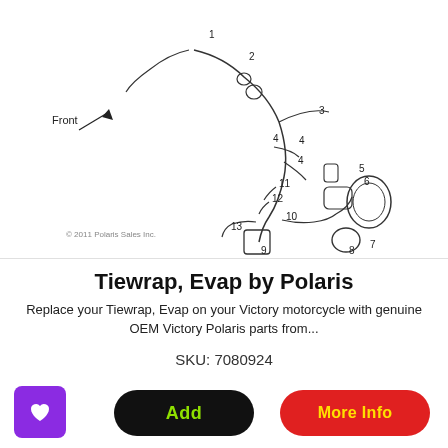[Figure (engineering-diagram): Technical exploded diagram of Tiewrap Evap motorcycle part assembly with numbered callouts (1-13) and directional Front arrow. Copyright 2011 Polaris Sales Inc.]
Tiewrap, Evap by Polaris
Replace your Tiewrap, Evap on your Victory motorcycle with genuine OEM Victory Polaris parts from...
SKU: 7080924